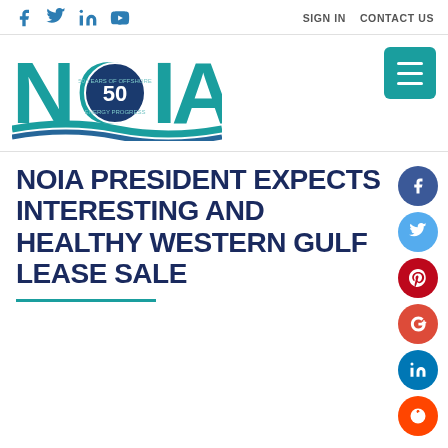Social icons: Facebook, Twitter, LinkedIn, YouTube | SIGN IN  CONTACT US
[Figure (logo): NOIA 50 Years of Offshore Energy Progress logo in teal/blue]
[Figure (other): Hamburger menu button (teal square with three white lines)]
NOIA PRESIDENT EXPECTS INTERESTING AND HEALTHY WESTERN GULF LEASE SALE
[Figure (infographic): Side social share buttons: Facebook (dark blue), Twitter (light blue), Pinterest (red), Google+ (red-orange), LinkedIn (blue), Reddit (orange-red)]